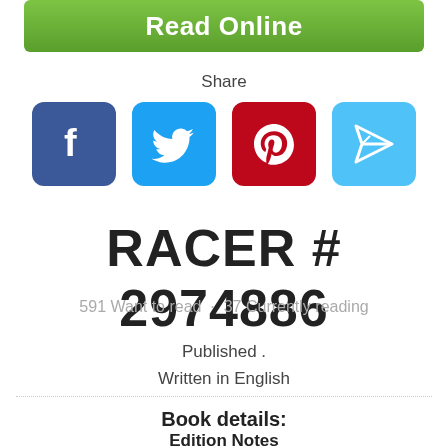[Figure (other): Green 'Read Online' button]
Share
[Figure (other): Social sharing icons: Facebook, Twitter, Pinterest, and a paper plane/share icon]
RACER # 2974886
591 Want to read · 37 Currently reading
Published .
Written in English
Book details:
Edition Notes
1